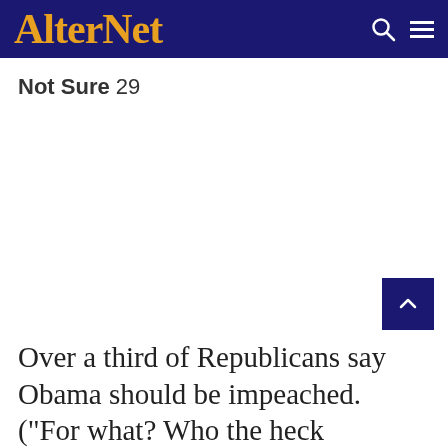AlterNet
Not Sure 29
Over a third of Republicans say Obama should be impeached. ("For what? Who the heck